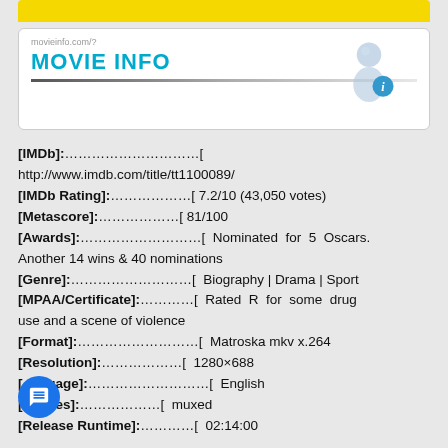[Figure (logo): Movie Info banner with cyan text MOVIE INFO, a person/info icon on the right, and a decorative swoosh line]
[IMDb]:…………………………[ http://www.imdb.com/title/tt1100089/
[IMDb Rating]:………………[ 7.2/10 (43,050 votes)
[Metascore]:………………[ 81/100
[Awards]:………………………[ Nominated for 5 Oscars. Another 14 wins & 40 nominations
[Genre]:………………………[ Biography | Drama | Sport
[MPAA/Certificate]:…………[ Rated R for some drug use and a scene of violence
[Format]:………………………[ Matroska mkv x.264
[Resolution]:………………[ 1280×688
[Language]:………………………[ English
[Subtitles]:………………[ muxed
[Release Runtime]:…………[ 02:14:00